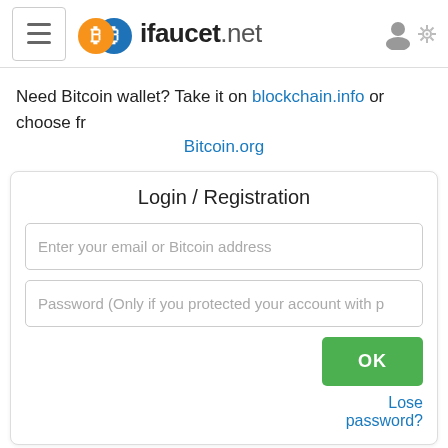ifaucet.net
Need Bitcoin wallet? Take it on blockchain.info or choose from Bitcoin.org
Login / Registration
Enter your email or Bitcoin address
Password (Only if you protected your account with p...
OK
Lose password?
Please enter your Bitcoin address or email to start collecting...